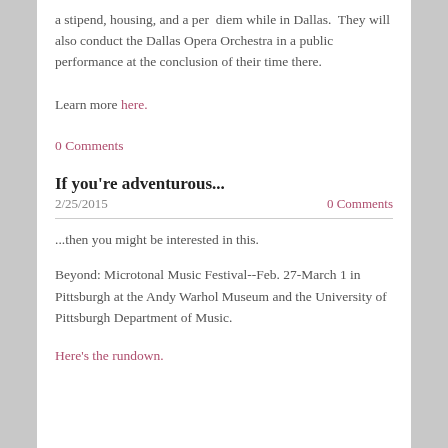a stipend, housing, and a per diem while in Dallas.  They will also conduct the Dallas Opera Orchestra in a public performance at the conclusion of their time there.
Learn more here.
0 Comments
If you're adventurous...
2/25/2015   0 Comments
...then you might be interested in this.
Beyond: Microtonal Music Festival--Feb. 27-March 1 in Pittsburgh at the Andy Warhol Museum and the University of Pittsburgh Department of Music.
Here's the rundown.